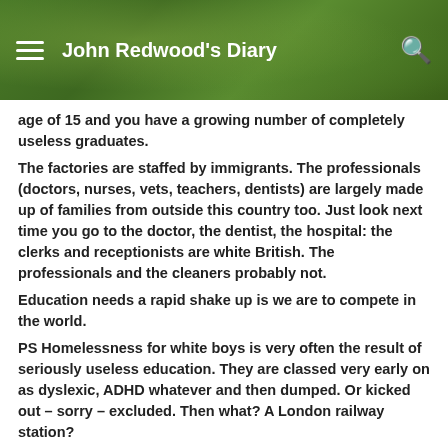John Redwood's Diary
age of 15 and you have a growing number of completely useless graduates.
The factories are staffed by immigrants. The professionals (doctors, nurses, vets, teachers, dentists) are largely made up of families from outside this country too. Just look next time you go to the doctor, the dentist, the hospital: the clerks and receptionists are white British. The professionals and the cleaners probably not.
Education needs a rapid shake up is we are to compete in the world.
PS Homelessness for white boys is very often the result of seriously useless education. They are classed very early on as dyslexic, ADHD whatever and then dumped. Or kicked out – sorry – excluded. Then what? A London railway station?